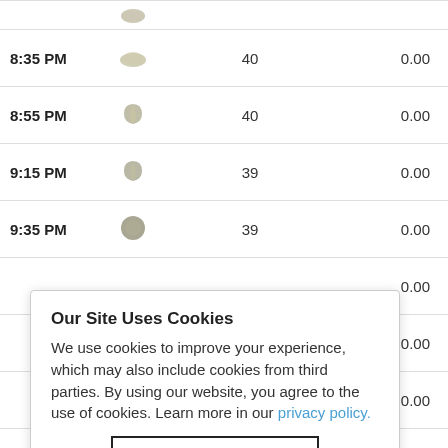| Time | Icon | Value1 | Value2 |
| --- | --- | --- | --- |
| 8:35 PM |  | 40 | 0.00 |
| 8:55 PM |  | 40 | 0.00 |
| 9:15 PM |  | 39 | 0.00 |
| 9:35 PM |  | 39 | 0.00 |
|  |  |  | 0.00 |
|  |  |  | 0.00 |
|  |  |  | 0.00 |
|  |  |  | 0.00 |
Our Site Uses Cookies
We use cookies to improve your experience, which may also include cookies from third parties. By using our website, you agree to the use of cookies. Learn more in our privacy policy.
ACCEPT & CLOSE